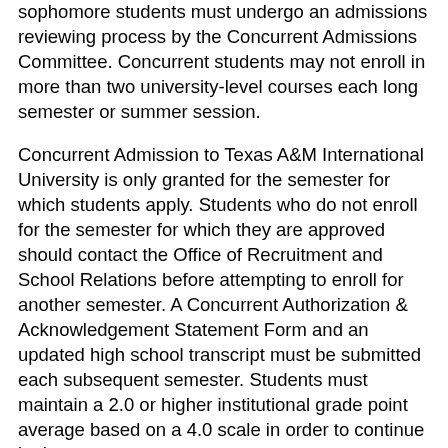sophomore students must undergo an admissions reviewing process by the Concurrent Admissions Committee. Concurrent students may not enroll in more than two university-level courses each long semester or summer session.
Concurrent Admission to Texas A&M International University is only granted for the semester for which students apply. Students who do not enroll for the semester for which they are approved should contact the Office of Recruitment and School Relations before attempting to enroll for another semester. A Concurrent Authorization & Acknowledgement Statement Form and an updated high school transcript must be submitted each subsequent semester. Students must maintain a 2.0 or higher institutional grade point average based on a 4.0 scale in order to continue in the program.